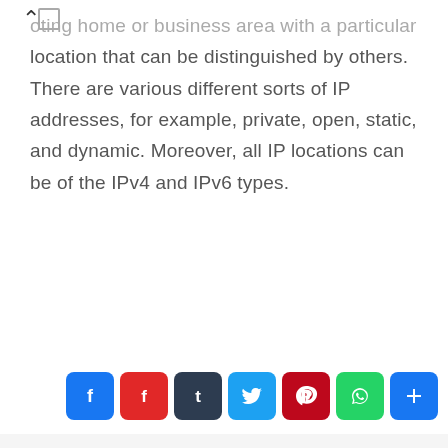…using home or business area with a particular location that can be distinguished by others. There are various different sorts of IP addresses, for example, private, open, static, and dynamic. Moreover, all IP locations can be of the IPv4 and IPv6 types.
[Figure (infographic): Social share buttons row: Facebook (blue), Flipboard (red), Tumblr (dark), Twitter (light blue), Pinterest (dark red), WhatsApp (green), More/plus (blue)]